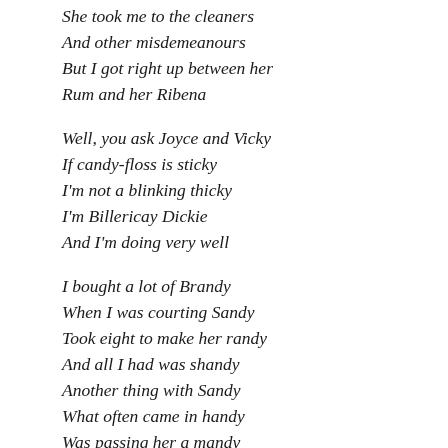She took me to the cleaners
And other misdemeanours
But I got right up between her
Rum and her Ribena
Well, you ask Joyce and Vicky
If candy-floss is sticky
I'm not a blinking thicky
I'm Billericay Dickie
And I'm doing very well
I bought a lot of Brandy
When I was courting Sandy
Took eight to make her randy
And all I had was shandy
Another thing with Sandy
What often came in handy
Was passing her a mandy